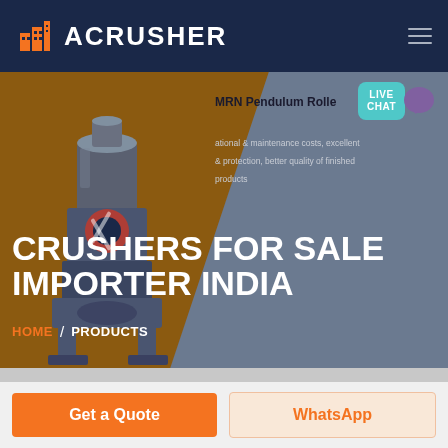ACRUSHER
[Figure (screenshot): Website hero banner showing a crusher machine on a brown/grey diagonal split background with title CRUSHERS FOR SALE IMPORTER INDIA and breadcrumb HOME / PRODUCTS. Live Chat button in top right. MRN Pendulum Roller overlay text on right side.]
CRUSHERS FOR SALE IMPORTER INDIA
MRN Pendulum Rolle
ational & maintenance costs, excellent & protection, better quality of finished products
HOME / PRODUCTS
Get a Quote
WhatsApp